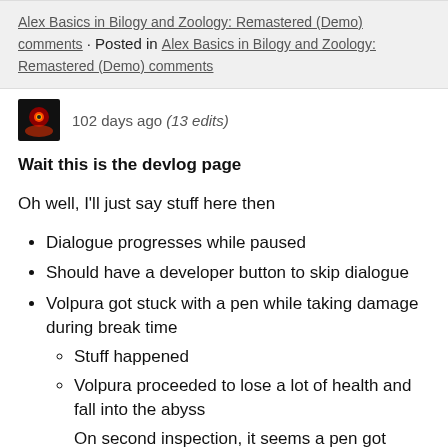Alex Basics in Bilogy and Zoology: Remastered (Demo) comments · Posted in Alex Basics in Bilogy and Zoology: Remastered (Demo) comments
102 days ago (13 edits)
Wait this is the devlog page
Oh well, I'll just say stuff here then
Dialogue progresses while paused
Should have a developer button to skip dialogue
Volpura got stuck with a pen while taking damage during break time
Stuff happened
Volpura proceeded to lose a lot of health and fall into the abyss
On second inspection, it seems a pen got stuck in them and they slipped out when they